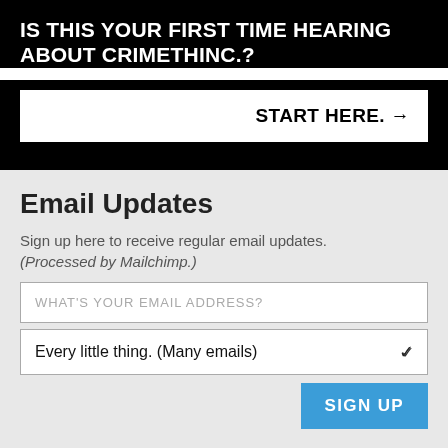IS THIS YOUR FIRST TIME HEARING ABOUT CRIMETHINC.?
START HERE. →
Email Updates
Sign up here to receive regular email updates. (Processed by Mailchimp.)
WHAT'S YOUR EMAIL ADDRESS?
Every little thing. (Many emails)
SIGN UP
Find Us Elsewhere
Keep up with our activities on the following additional